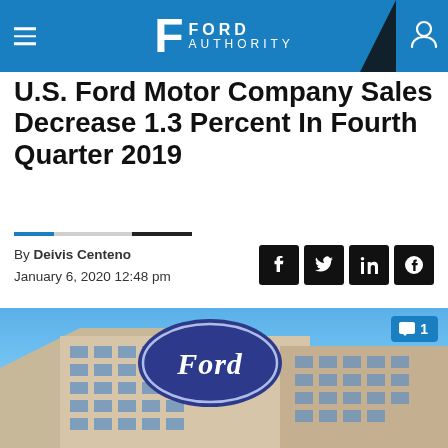Ford Authority
U.S. Ford Motor Company Sales Decrease 1.3 Percent In Fourth Quarter 2019
By Deivis Centeno
January 6, 2020 12:48 pm
[Figure (photo): Ford headquarters building with large blue Ford oval logo on top, against a clear blue sky. The building has a glass and concrete facade with rows of windows.]